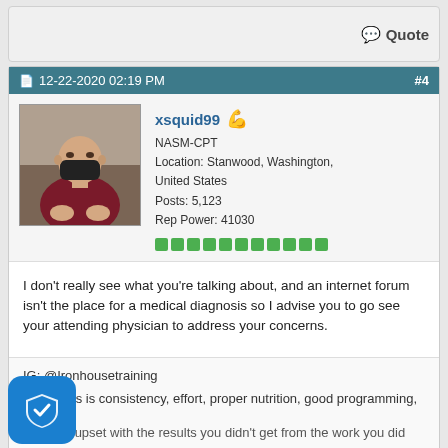Quote
12-22-2020 02:19 PM   #4
[Figure (photo): Profile photo of user xsquid99 wearing a dark mask and maroon shirt, seated in what appears to be a gym]
xsquid99
NASM-CPT
Location: Stanwood, Washington, United States
Posts: 5,123
Rep Power: 41030
I don't really see what you're talking about, and an internet forum isn't the place for a medical diagnosis so I advise you to go see your attending physician to address your concerns.
IG: @Ironhousetraining
All it takes is consistency, effort, proper nutrition, good programming, TIME.
Don't be upset with the results you didn't get from the work you did